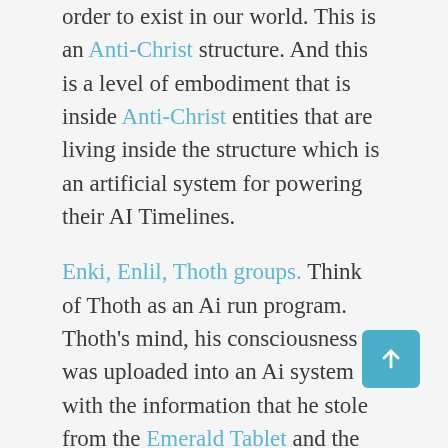order to exist in our world. This is an Anti-Christ structure. And this is a level of embodiment that is inside Anti-Christ entities that are living inside the structure which is an artificial system for powering their AI Timelines.
Enki, Enlil, Thoth groups. Think of Thoth as an Ai run program. Thoth's mind, his consciousness was uploaded into an Ai system with the information that he stole from the Emerald Tablet and the Founder Records when he defected. The Ai program of that information became the basis of how they built these extensive and complex anti-Christ structures into our time matrix. So this is a part of timeline control and creating an Anti-Christ that is in control of these timelines so that we are experiencing these timeline reversals and the